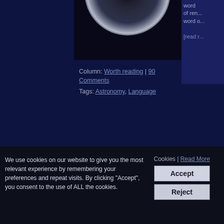[Figure (photo): Solar eclipse photo with dark sky and glowing corona, top of page]
word of rend... word o...
[read r...
Column: Worth reading | 90 Comments
Tags: Astronomy, Language
The Greek moon goddess Selene
Jörg & Pat | 16th January 2012
[Figure (photo): Blue-tinted artistic photo of a woman with crescent moon headdress, representing Greek moon goddess Selene]
Selene is a da... the Tit... sibling of daw... These day ar... man...
We use cookies on our website to give you the most relevant experience by remembering your preferences and repeat visits. By clicking "Accept", you consent to the use of ALL the cookies.
Cookies | Read More